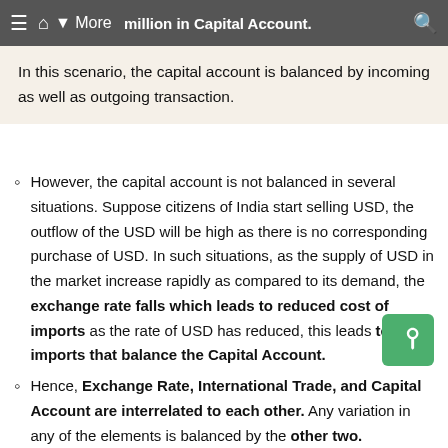million in Capital Account. [navigation bar with More]
In this scenario, the capital account is balanced by incoming as well as outgoing transaction.
However, the capital account is not balanced in several situations. Suppose citizens of India start selling USD, the outflow of the USD will be high as there is no corresponding purchase of USD. In such situations, as the supply of USD in the market increase rapidly as compared to its demand, the exchange rate falls which leads to reduced cost of imports as the rate of USD has reduced, this leads to high imports that balance the Capital Account.
Hence, Exchange Rate, International Trade, and Capital Account are interrelated to each other. Any variation in any of the elements is balanced by the other two.